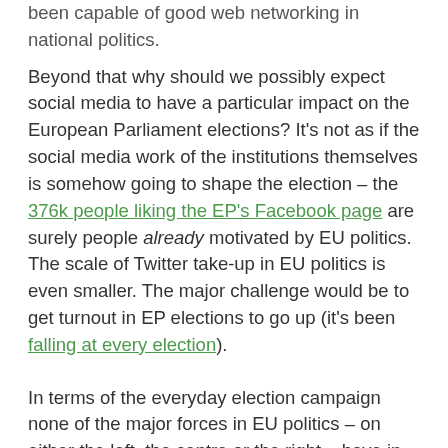been capable of good web networking in national politics.
Beyond that why should we possibly expect social media to have a particular impact on the European Parliament elections? It's not as if the social media work of the institutions themselves is somehow going to shape the election – the 376k people liking the EP's Facebook page are surely people already motivated by EU politics. The scale of Twitter take-up in EU politics is even smaller. The major challenge would be to get turnout in EP elections to go up (it's been falling at every election).
In terms of the everyday election campaign none of the major forces in EU politics – on either the left, the centre or the right – have in any way mastered the ways to use social media to help them win elections. These parties are neither capable of the egalitarian liquid democracy of the